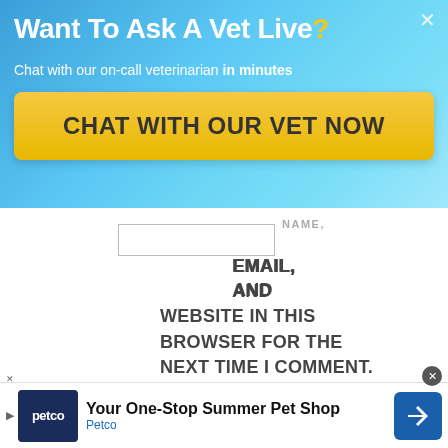[Figure (screenshot): Advertisement banner with blue gradient background showing 'Want To Ask A Vet Live?' with a yellow 'CHAT WITH OUR VET NOW' button]
Want To Ask A Vet Live?
Chat with our on-call veterinarian in minutes
CHAT WITH OUR VET NOW
NAME, EMAIL, AND WEBSITE IN THIS BROWSER FOR THE NEXT TIME I COMMENT.
Post Comment
No compatible source was found for this media.
[Figure (screenshot): Petco advertisement banner: 'Your One-Stop Summer Pet Shop' with Petco logo]
Your One-Stop Summer Pet Shop
Petco